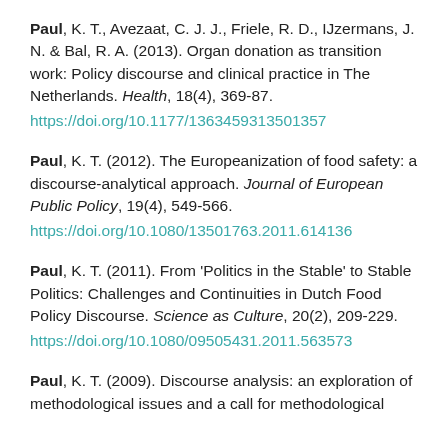Paul, K. T., Avezaat, C. J. J., Friele, R. D., IJzermans, J. N. & Bal, R. A. (2013). Organ donation as transition work: Policy discourse and clinical practice in The Netherlands. Health, 18(4), 369-87. https://doi.org/10.1177/1363459313501357
Paul, K. T. (2012). The Europeanization of food safety: a discourse-analytical approach. Journal of European Public Policy, 19(4), 549-566. https://doi.org/10.1080/13501763.2011.614136
Paul, K. T. (2011). From 'Politics in the Stable' to Stable Politics: Challenges and Continuities in Dutch Food Policy Discourse. Science as Culture, 20(2), 209-229. https://doi.org/10.1080/09505431.2011.563573
Paul, K. T. (2009). Discourse analysis: an exploration of methodological issues and a call for methodological